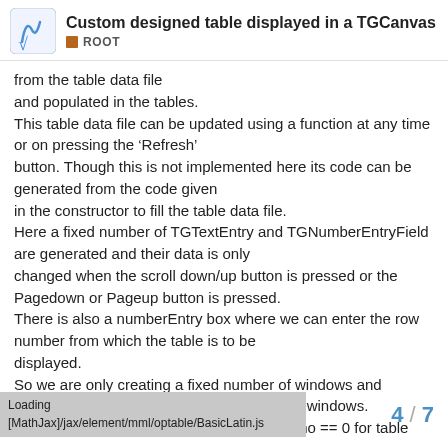Custom designed table displayed in a TGCanvas ROOT
from the table data file and populated in the tables. This table data file can be updated using a function at any time or on pressing the ‘Refresh’ button. Though this is not implemented here its code can be generated from the code given in the constructor to fill the table data file. Here a fixed number of TGTextEntry and TGNumberEntryField are generated and their data is only changed when the scroll down/up button is pressed or the Pagedown or Pageup button is pressed. There is also a numberEntry box where we can enter the row number from which the table is to be displayed. So we are only creating a fixed number of windows and subwindows and we are re-using these sub-windows. The code has to check for the value of list_no == 0 for table number zero and == 1 for table number on
Loading [MathJax]/jax/element/mml/optable/BasicLatin.js  4 / 7